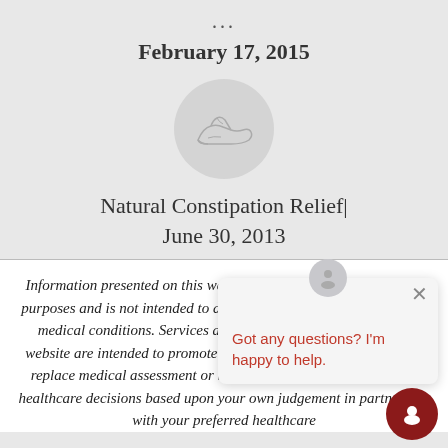...
February 17, 2015
[Figure (illustration): Circular icon with a light gray background containing a line drawing of a sneaker/shoe]
Natural Constipation Relief|
June 30, 2013
Information presented on this website is for general informational purposes and is not intended to diagnose, treat, cure or prevent any medical conditions. Services and information provided on this website are intended to promote wellbeing and are not intended to replace medical assessment or treatment. Please make your own healthcare decisions based upon your own judgement in partnership with your preferred healthcare professional.